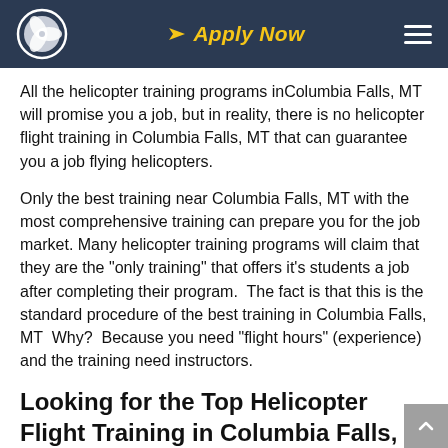Apply Now
All the helicopter training programs inColumbia Falls, MT will promise you a job, but in reality, there is no helicopter flight training in Columbia Falls, MT that can guarantee you a job flying helicopters.
Only the best training near Columbia Falls, MT with the most comprehensive training can prepare you for the job market. Many helicopter training programs will claim that they are the "only training" that offers it's students a job after completing their program.  The fact is that this is the standard procedure of the best training in Columbia Falls, MT  Why?  Because you need "flight hours" (experience) and the training need instructors.
Looking for the Top Helicopter Flight Training in Columbia Falls,